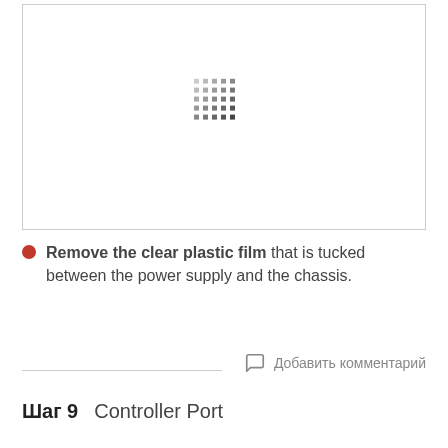[Figure (photo): Image placeholder with dot grid pattern, representing a photo of a power supply and chassis with clear plastic film]
Remove the clear plastic film that is tucked between the power supply and the chassis.
Добавить комментарий
Шаг 9    Controller Port